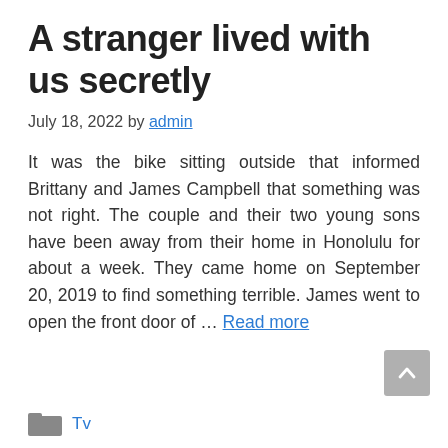A stranger lived with us secretly
July 18, 2022 by admin
It was the bike sitting outside that informed Brittany and James Campbell that something was not right. The couple and their two young sons have been away from their home in Honolulu for about a week. They came home on September 20, 2019 to find something terrible. James went to open the front door of … Read more
Tv